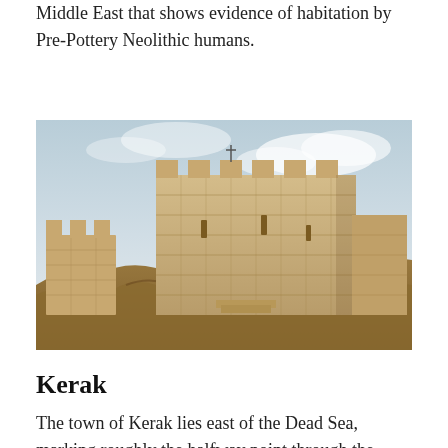Middle East that shows evidence of habitation by Pre-Pottery Neolithic humans.
[Figure (photo): Photograph of an ancient stone fortress or castle ruins atop a rocky hill, with pale limestone block walls against a partly cloudy sky. The structure shows battlements and a tall tower section.]
Kerak
The town of Kerak lies east of the Dead Sea, marking roughly the halfway point through the king's highway. Its crusader